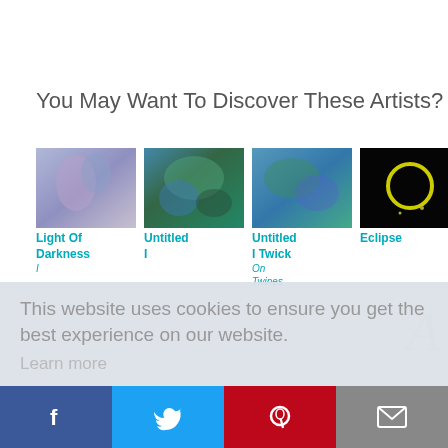You May Want To Discover These Artists?
[Figure (photo): Row of 6 artwork thumbnails: colorful abstract paintings and one eclipse photo. Titles: Light Of Darkness, Untitled I, Untitled I Twick, Eclipse, Woman In Red, Untitled I]
This website uses cookies to ensure you get the best experience on our website.
Learn more
[X] Got it!
[Figure (photo): Social sharing bar with Facebook, Twitter, Pinterest, and Email buttons]